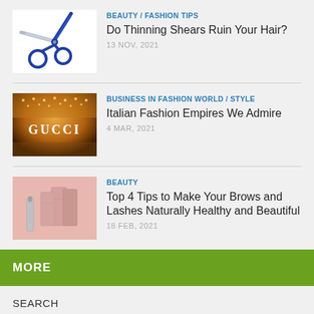[Figure (illustration): Scissors icon on white background]
BEAUTY / FASHION TIPS
Do Thinning Shears Ruin Your Hair?
13 NOV, 2021
[Figure (photo): Gucci store interior with warm amber lighting and the word GUCCI illuminated]
BUSINESS IN FASHION WORLD / STYLE
Italian Fashion Empires We Admire
4 MAR, 2021
[Figure (photo): Pink beauty products arranged on a pink background]
BEAUTY
Top 4 Tips to Make Your Brows and Lashes Naturally Healthy and Beautiful
18 FEB, 2021
MORE
SEARCH